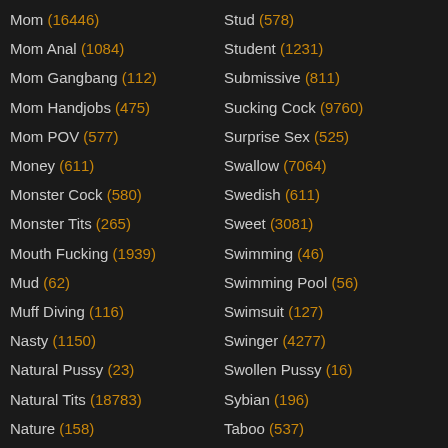Mom (16446)
Mom Anal (1084)
Mom Gangbang (112)
Mom Handjobs (475)
Mom POV (577)
Money (611)
Monster Cock (580)
Monster Tits (265)
Mouth Fucking (1939)
Mud (62)
Muff Diving (116)
Nasty (1150)
Natural Pussy (23)
Natural Tits (18783)
Nature (158)
Stud (578)
Student (1231)
Submissive (811)
Sucking Cock (9760)
Surprise Sex (525)
Swallow (7064)
Swedish (611)
Sweet (3081)
Swimming (46)
Swimming Pool (56)
Swimsuit (127)
Swinger (4277)
Swollen Pussy (16)
Sybian (196)
Taboo (537)